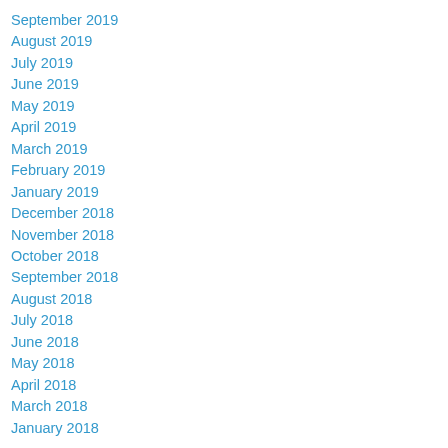September 2019
August 2019
July 2019
June 2019
May 2019
April 2019
March 2019
February 2019
January 2019
December 2018
November 2018
October 2018
September 2018
August 2018
July 2018
June 2018
May 2018
April 2018
March 2018
January 2018